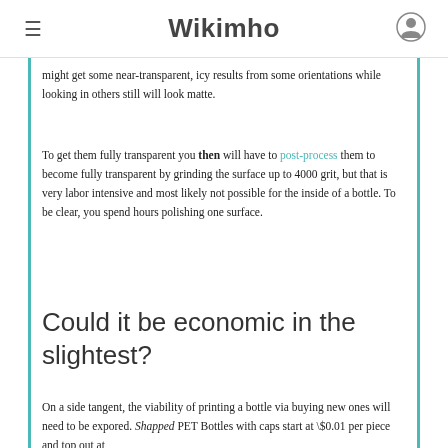Wikimho
might get some near-transparent, icy results from some orientations while looking in others still will look matte.
To get them fully transparent you then will have to post-process them to become fully transparent by grinding the surface up to 4000 grit, but that is very labor intensive and most likely not possible for the inside of a bottle. To be clear, you spend hours polishing one surface.
Could it be economic in the slightest?
On a side tangent, the viability of printing a bottle via buying new ones will need to be expored. Shapped PET Bottles with caps start at \$0.01 per piece and top out at